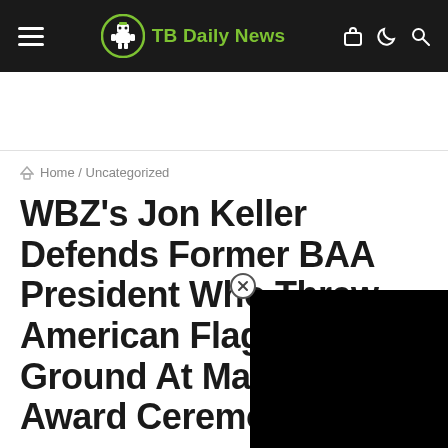TB Daily News
Home / Uncategorized
WBZ's Jon Keller Defends Former BAA President Who Threw American Flag On The Ground At Marathon Award Ceremony